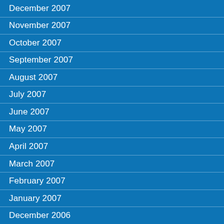December 2007
November 2007
October 2007
September 2007
August 2007
July 2007
June 2007
May 2007
April 2007
March 2007
February 2007
January 2007
December 2006